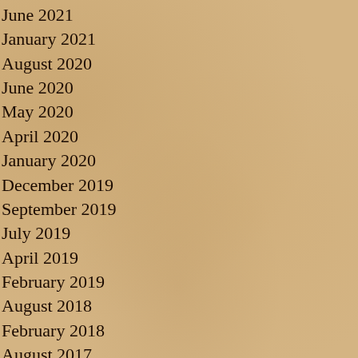June 2021
January 2021
August 2020
June 2020
May 2020
April 2020
January 2020
December 2019
September 2019
July 2019
April 2019
February 2019
August 2018
February 2018
August 2017
June 2017
May 2017
April 2017
November 2016